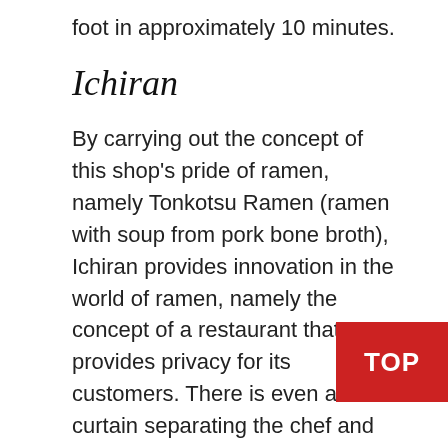foot in approximately 10 minutes.
Ichiran
By carrying out the concept of this shop's pride of ramen, namely Tonkotsu Ramen (ramen with soup from pork bone broth), Ichiran provides innovation in the world of ramen, namely the concept of a restaurant that provides privacy for its customers. There is even a curtain separating the chef and the customer. According to the news, many artists come to eat here. They may want to experience eating ramen with privacy and of course the incredible taste of the ramen.
Ichiran ramen stalls already exist in several countries outside Japan such as America and Taiwan. Their stores in Tokyo alone are in 15 places. You can visit one of their stalls in Ikebukuro or Shibuya as they are open 24. Both stalls are located close to the JR station with less than 10 minutes walking distance.